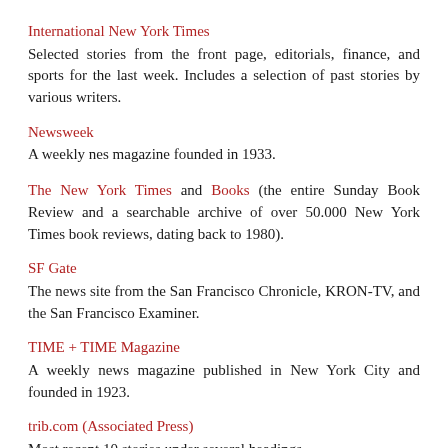International New York Times
Selected stories from the front page, editorials, finance, and sports for the last week. Includes a selection of past stories by various writers.
Newsweek
A weekly nes magazine founded in 1933.
The New York Times and Books
(the entire Sunday Book Review and a searchable archive of over 50.000 New York Times book reviews, dating back to 1980).
SF Gate
The news site from the San Francisco Chronicle, KRON-TV, and the San Francisco Examiner.
TIME + TIME Magazine
A weekly news magazine published in New York City and founded in 1923.
trib.com (Associated Press)
Most recent 10 stories under several headings.